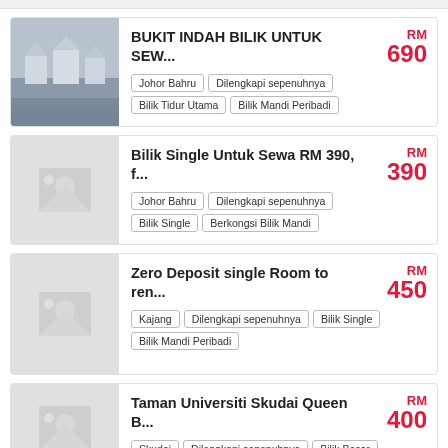[Figure (photo): Thumbnail photo of a residential property street view]
BUKIT INDAH BILIK UNTUK SEW...
Johor Bahru | Dilengkapi sepenuhnya | Bilik Tidur Utama | Bilik Mandi Peribadi | RM 690
[Figure (photo): Placeholder image thumbnail]
Bilik Single Untuk Sewa RM 390, f...
Johor Bahru | Dilengkapi sepenuhnya | Bilik Single | Berkongsi Bilik Mandi | RM 390
[Figure (photo): Placeholder image thumbnail]
Zero Deposit single Room to ren...
Kajang | Dilengkapi sepenuhnya | Bilik Single | Bilik Mandi Peribadi | RM 450
[Figure (photo): Placeholder image thumbnail]
Taman Universiti Skudai Queen B...
Skudai | Dilengkapi sepenuhnya | Bilik Besar | RM 400